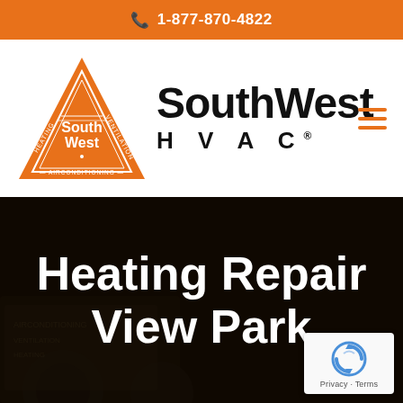1-877-870-4822
[Figure (logo): SouthWest HVAC logo: orange triangle with 'SouthWest' text inside, accompanied by bold 'SouthWest HVAC®' brand name text]
Heating Repair View Park
[Figure (other): reCAPTCHA badge with circular arrow icon and Privacy · Terms text]